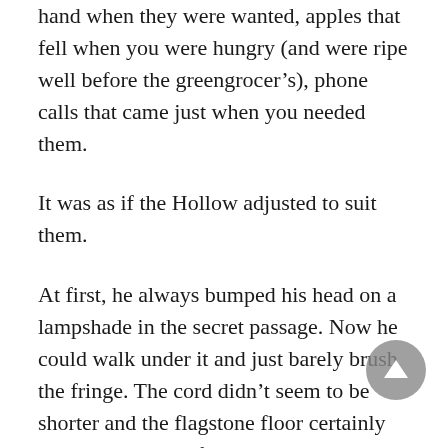hand when they were wanted, apples that fell when you were hungry (and were ripe well before the greengrocer’s), phone calls that came just when you needed them.
It was as if the Hollow adjusted to suit them.
At first, he always bumped his head on a lampshade in the secret passage. Now he could walk under it and just barely brush the fringe. The cord didn’t seem to be shorter and the flagstone floor certainly wasn’t lower. As if the passage, and the whole house, changed minutely, to make him comfortable.
The Mystery Collection was growing steadily. Phenomena that two or more of them could bear witness to were admitted. Like the falling pebble. It was a Dad-Jordan thing, though. Tim kept mum about whatever he saw, like a good soldier. Kirsty added her